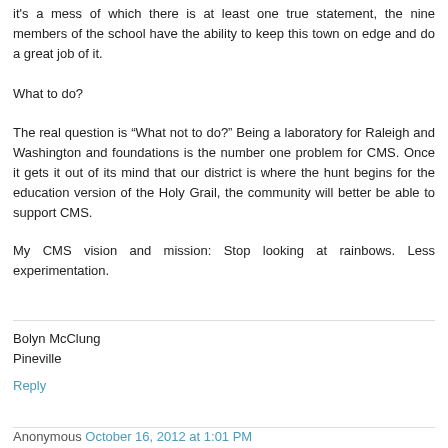it's a mess of which there is at least one true statement, the nine members of the school have the ability to keep this town on edge and do a great job of it.
What to do?
The real question is “What not to do?” Being a laboratory for Raleigh and Washington and foundations is the number one problem for CMS. Once it gets it out of its mind that our district is where the hunt begins for the education version of the Holy Grail, the community will better be able to support CMS.
My CMS vision and mission: Stop looking at rainbows. Less experimentation.
Bolyn McClung
Pineville
Reply
Anonymous October 16, 2012 at 1:01 PM